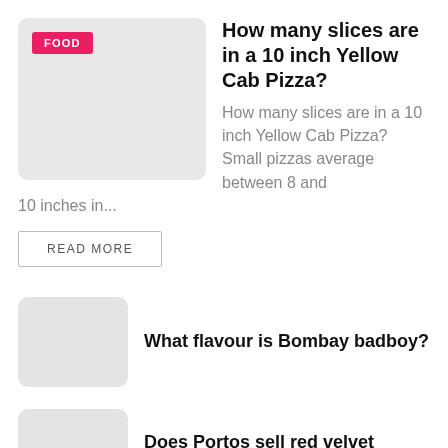[Figure (photo): Thumbnail image placeholder for pizza article with FOOD category tag]
How many slices are in a 10 inch Yellow Cab Pizza?
How many slices are in a 10 inch Yellow Cab Pizza? Small pizzas average between 8 and 10 inches in...
READ MORE
[Figure (photo): Thumbnail image placeholder for Bombay badboy article]
What flavour is Bombay badboy?
[Figure (photo): Thumbnail image placeholder for Portos article]
Does Portos sell red velvet cake?
[Figure (photo): Thumbnail image placeholder for O Pittsburgh article]
What is replacing the O Pittsburgh?